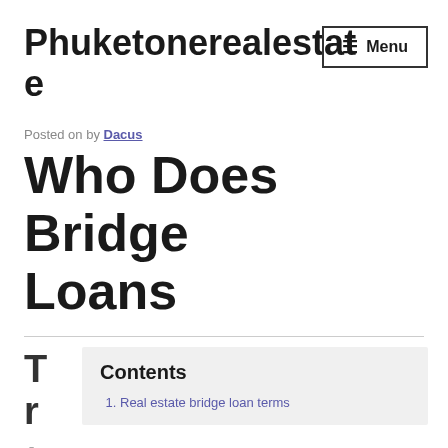Phuketonerealestate
Posted on by Dacus
Who Does Bridge Loans
Contents
1. Real estate bridge loan terms